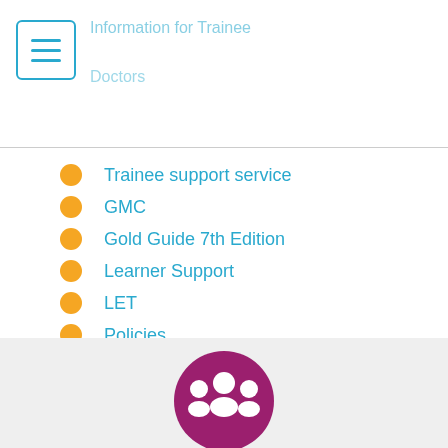Information for Trainee Doctors
Trainee support service
GMC
Gold Guide 7th Edition
Learner Support
LET
Policies
[Figure (illustration): Magenta/purple circular icon with white silhouettes of people (group/community)]